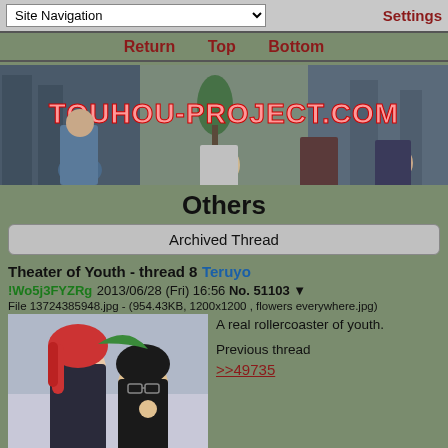Site Navigation | Settings
Return   Top   Bottom
[Figure (illustration): touhou-project.com banner with anime characters]
Others
Archived Thread
Theater of Youth - thread 8 Teruyo
!Wo5j3FYZRg 2013/06/28 (Fri) 16:56 No. 51103 ▼
File 13724385948.jpg - (954.43KB, 1200x1200 , flowers everywhere.jpg)
[Figure (illustration): Anime character illustration - red haired girl and dark haired girl with glasses]
A real rollercoaster of youth.

Previous thread
>>49735